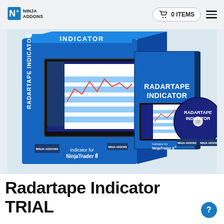NINJA ADDONS — 0 ITEMS
[Figure (photo): Product box and DVD case for Radartape Indicator for NinjaTrader 8, showing trading charts with blue horizontal bands and candlestick price action. The box displays 'RADARTAPE INDICATOR' branding with Ninja Addons logo.]
Radartape Indicator TRIAL